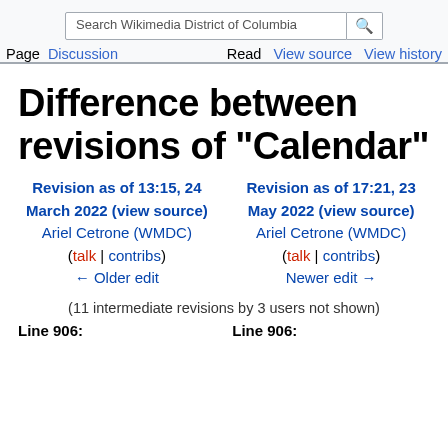Search Wikimedia District of Columbia | Page | Discussion | Read | View source | View history
Difference between revisions of "Calendar"
Revision as of 13:15, 24 March 2022 (view source) Ariel Cetrone (WMDC) (talk | contribs) ← Older edit
Revision as of 17:21, 23 May 2022 (view source) Ariel Cetrone (WMDC) (talk | contribs) Newer edit →
(11 intermediate revisions by 3 users not shown)
Line 906: